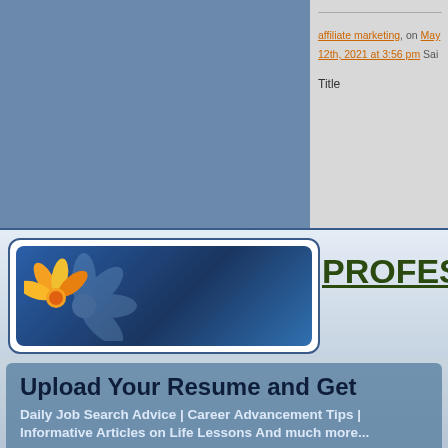affiliate marketing, on May 12th, 2021 at 3:56 pm Sai
Title
[Figure (logo): Professional Advice website logo with flower icon on blue gradient background]
PROFESSIONAL ADVI...
Upload Your Resume and Get
Daily Job Search Advice | Career Advancement Tips | Informative Articles on Life Lessons And much more...
Email Address
Upload Resume  Choose File  No file chosen